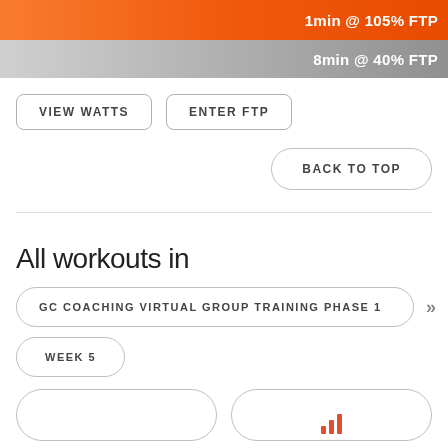1min @ 105% FTP
8min @ 40% FTP
VIEW WATTS
ENTER FTP
BACK TO TOP
All workouts in
GC COACHING VIRTUAL GROUP TRAINING PHASE 1
WEEK 5